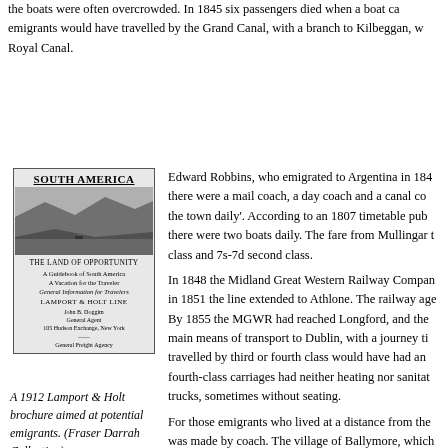the boats were often overcrowded. In 1845 six passengers died when a boat ca... emigrants would have travelled by the Grand Canal, with a branch to Kilbeggan, w... Royal Canal.
[Figure (photo): Cover of a 1912 Lamport & Holt brochure titled SOUTH AMERICA - THE LAND OF OPPORTUNITY, A Guidebook of South America, A Vacation for the Traveler, General Information for Travelers, with a landscape photograph showing mountains and water.]
A 1912 Lamport & Holt brochure aimed at potential emigrants. (Fraser Darrah Collection)
Edward Robbins, who emigrated to Argentina in 184... there were a mail coach, a day coach and a canal co... the town daily'. According to an 1807 timetable pub... there were two boats daily. The fare from Mullingar t... class and 7s-7d second class.
In 1848 the Midland Great Western Railway Compan... in 1851 the line extended to Athlone. The railway age... By 1855 the MGWR had reached Longford, and the... main means of transport to Dublin, with a journey ti... travelled by third or fourth class would have had an... fourth-class carriages had neither heating nor sanita... trucks, sometimes without seating.
For those emigrants who lived at a distance from the... was made by coach. The village of Ballymore, which... emigration to South America, is about 20km west o...